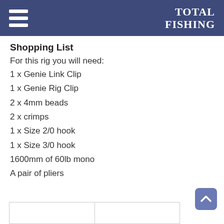TOTAL FISHING
Shopping List
For this rig you will need:
1 x Genie Link Clip
1 x Genie Rig Clip
2 x 4mm beads
2 x crimps
1 x Size 2/0 hook
1 x Size 3/0 hook
1600mm of 60lb mono
A pair of pliers
|  |  |